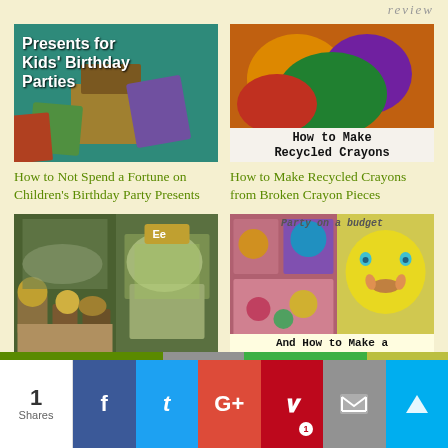review
[Figure (photo): Presents for Kids' Birthday Parties - wrapped gifts on teal background with text overlay]
[Figure (photo): Colorful recycled crayons - melted rainbow crayons with text 'How to Make Recycled Crayons']
How to Not Spend a Fortune on Children's Birthday Party Presents
How to Make Recycled Crayons from Broken Crayon Pieces
[Figure (photo): Garden party collage - plants, flowers, white rabbit stuffed animal]
[Figure (photo): Party on a budget collage with colorful stones and yellow panda lantern, text 'And How to Make a']
Buy (Almost) Nothing Birthday Party - Peter
Greening a Five Year Old's Birthday Party on